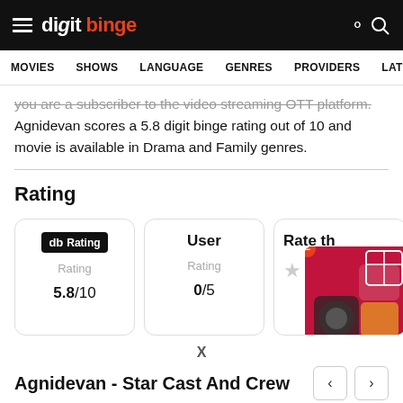digit binge — navigation bar with MOVIES, SHOWS, LANGUAGE, GENRES, PROVIDERS, LATE
you are a subscriber to the video streaming OTT platform. Agnidevan scores a 5.8 digit binge rating out of 10 and movie is available in Drama and Family genres.
Rating
| db Rating | User | Rate th... |
| --- | --- | --- |
| Rating | Rating |  |
| 5.8/10 | 0/5 | ★ ★ |
X
Agnidevan - Star Cast And Crew